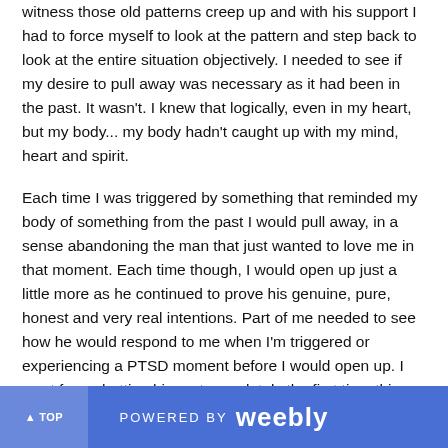witness those old patterns creep up and with his support I had to force myself to look at the pattern and step back to look at the entire situation objectively. I needed to see if my desire to pull away was necessary as it had been in the past. It wasn't. I knew that logically, even in my heart, but my body... my body hadn't caught up with my mind, heart and spirit.
Each time I was triggered by something that reminded my body of something from the past I would pull away, in a sense abandoning the man that just wanted to love me in that moment. Each time though, I would open up just a little more as he continued to prove his genuine, pure, honest and very real intentions. Part of me needed to see how he would respond to me when I'm triggered or experiencing a PTSD moment before I would open up. I went from shutting him out completely the first time this happened to most recently, feeling what was happening
▲ TOP   POWERED BY weebly